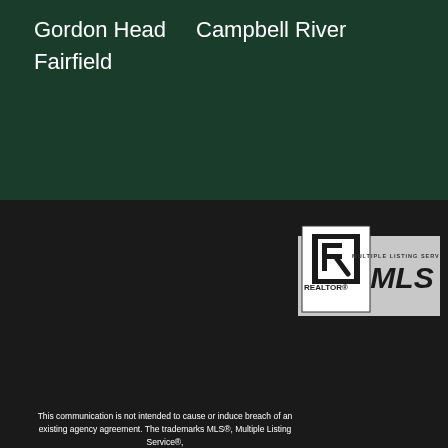Gordon Head
Fairfield
Campbell River
This communication is not intended to cause or induce breach of an existing agency agreement. The trademarks MLS®, Multiple Listing Service®, and the associated logos are owned by the The Canadian Real Estate Association (CREA) and identify the quality of services provided by real estate professionals who are members of CREA. The trademark DDF® is owned by the The Canadian Real Estate Association (CREA) and identifies CREA's Data Distribution Facility (DDF®). The trademarks REALTOR®, REALTORS® and the REALTOR® logo are controlled by The Canadian Real
[Figure (logo): REALTOR and MLS Multiple Listing Service logos side by side on grey background]